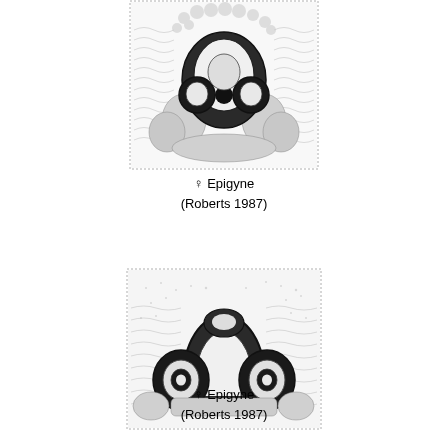[Figure (illustration): Scientific illustration of a spider epigyne (female reproductive structure) showing detailed anatomical drawing with stippling and line work, frontal view. Dotted border rectangle around image.]
♀ Epigyne
(Roberts 1987)
[Figure (illustration): Scientific illustration of a spider epigyne (female reproductive structure), second specimen, showing detailed anatomical drawing with stippling and line work, frontal view. Dotted border rectangle around image.]
♀ Epigyne
(Roberts 1987)